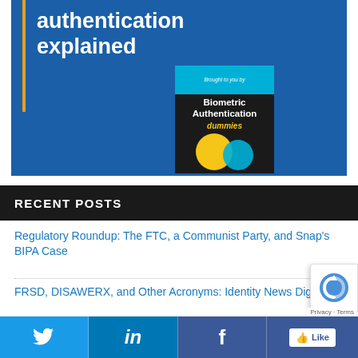[Figure (screenshot): Hero banner with blue background showing partial title 'authentication explained' and a book cover for 'Biometric Authentication for Dummies']
RECENT POSTS
Regulatory Roundup: The FTC, a Communist Party, and Snap's BIPA Case
FRSD, DISAWERX, and Other Acronyms: Identity News Digest
[Figure (screenshot): Social share bar with Twitter, LinkedIn, Facebook buttons and a Like button]